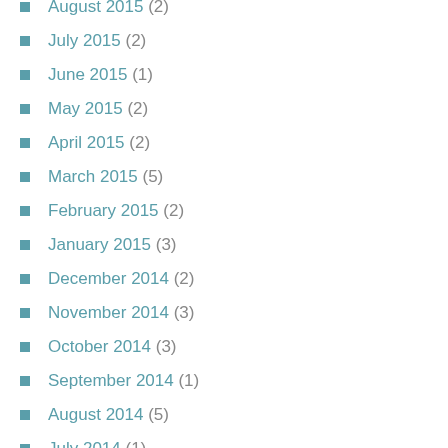August 2015 (2)
July 2015 (2)
June 2015 (1)
May 2015 (2)
April 2015 (2)
March 2015 (5)
February 2015 (2)
January 2015 (3)
December 2014 (2)
November 2014 (3)
October 2014 (3)
September 2014 (1)
August 2014 (5)
July 2014 (1)